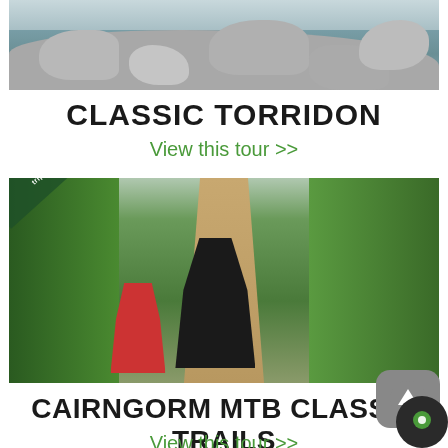[Figure (photo): Rocky mountain terrain photo at the top of the page]
CLASSIC TORRIDON
View this tour >>
[Figure (photo): Mountain bikers riding on a trail through a forest, with a diagonal banner reading 'OPEN NOW FOR BOOKINGS trips starting 13th July 2020']
CAIRNGORM MTB CLASSIC TRAILS
View this tour >>